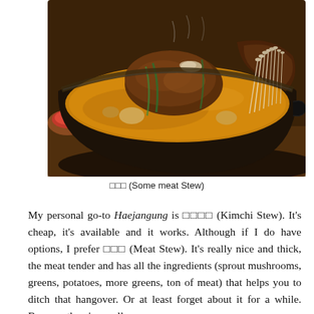[Figure (photo): A large dark metal pot filled with a rich brown meat stew (Haejangung) containing pieces of meat on bones, enoki mushrooms, green onions, and other vegetables in a thick broth. A small bowl of red sauce is visible on the left side.]
□□□ (Some meat Stew)
My personal go-to Haejangung is □□□□ (Kimchi Stew). It's cheap, it's available and it works. Although if I do have options, I prefer □□□ (Meat Stew). It's really nice and thick, the meat tender and has all the ingredients (sprout mushrooms, greens, potatoes, more greens, ton of meat) that helps you to ditch that hangover. Or at least forget about it for a while. Because there's usually